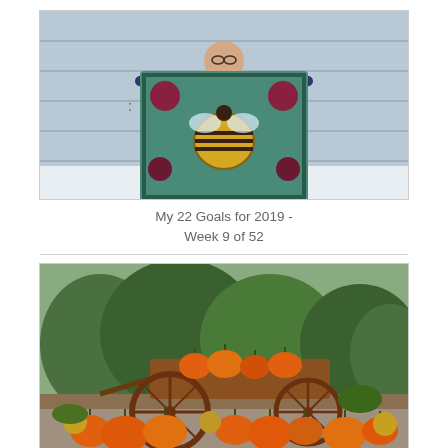[Figure (photo): Person holding up a large decorative hooked rug with bee and floral design, standing outside in front of a light blue wooden door/building, snow on the ground, wearing glasses and jeans.]
My 22 Goals for 2019 - Week 9 of 52
[Figure (photo): Autumn scene with orange pumpkins, yellow chrysanthemums, and other fall decorations arranged around an old wooden wagon with large spoked wheels, green trees and shrubs in background.]
My 15 Goals for 2018 : Week 43 of 52